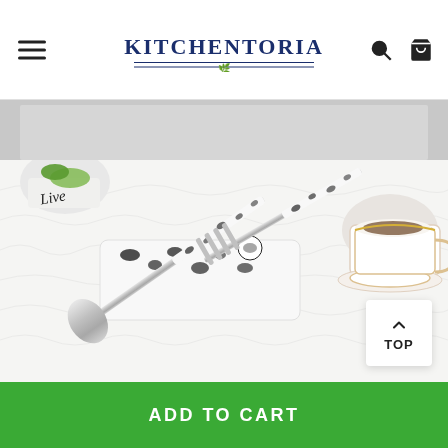KITCHENTORIA
[Figure (photo): Partial product image at top, cropped]
[Figure (photo): Cow-print stainless steel spoon and fork with matching white case, arranged on a white fur surface with a potted plant saying 'Live' and a white teacup and saucer in the background]
TOP
ADD TO CART